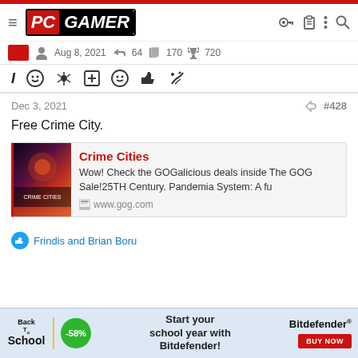PC GAMER
Aug 8, 2021  64  170  720
Dec 3, 2021  #428
Free Crime City.
[Figure (screenshot): Link card for Crime Cities on GOG.com with thumbnail image. Title: Crime Cities. Description: Wow! Check the GOGalicious deals inside The GOG Sale!25TH Century. Pandemia System: A fu. URL: www.gog.com]
Frindis and Brian Boru
[Figure (infographic): Back to School advertisement for Bitdefender with -58% discount badge. Text: Start your school year with Bitdefender! BUY NOW button.]